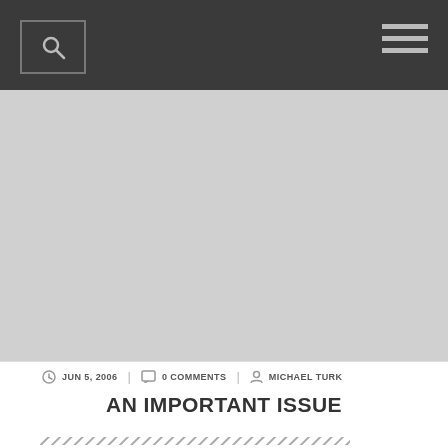Navigation bar with search and menu icons
[Figure (photo): Large gray placeholder image area]
JUN 5, 2006 | 0 COMMENTS | MICHAEL TURK
AN IMPORTANT ISSUE